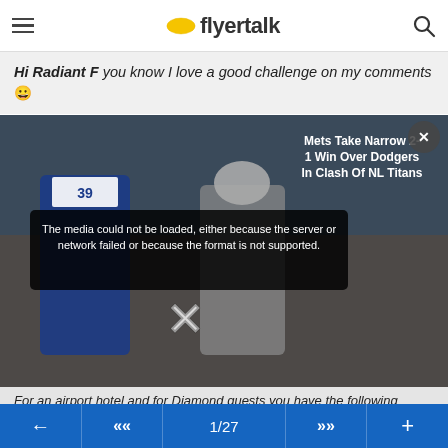flyertalk
Hi Radiant F you know I love a good challenge on my comments 🙂
[Figure (screenshot): Video player overlay showing baseball players (Mets #39) with error message 'The media could not be loaded, either because the server or network failed or because the format is not supported.' News headline overlay: 'Mets Take Narrow 2-1 Win Over Dodgers In Clash Of NL Titans'. Close button top right. X dismiss icon center.]
For an airport hotel and for Diamond guests you have the following attributes in my many years of staying with the property
A professional team with a friendly professional attitude at the front of the house and a management culture to make anything right that may fail.
Among the highest ratings/scores of any Hyatt Hotel in North America
They have come in number one before
1/27